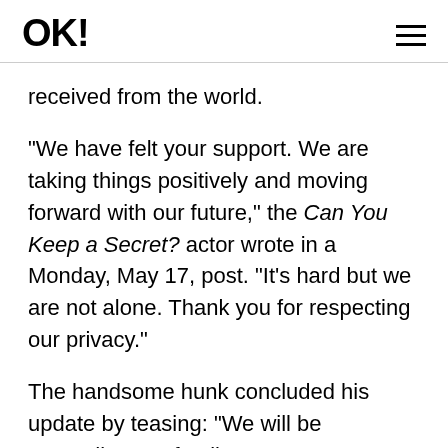OK!
received from the world.
"We have felt your support. We are taking things positively and moving forward with our future," the Can You Keep a Secret? actor wrote in a Monday, May 17, post. "It's hard but we are not alone. Thank you for respecting our privacy."
The handsome hunk concluded his update by teasing: "We will be expanding our family soon."
Advertisement